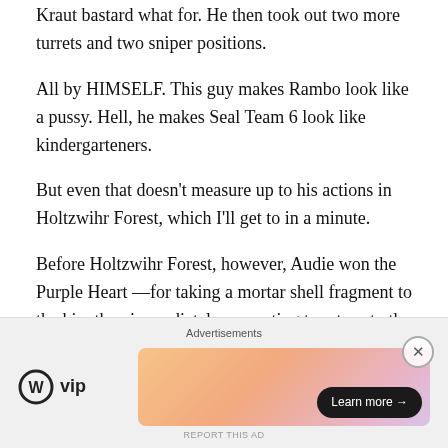Kraut bastard what for. He then took out two more turrets and two sniper positions.
All by HIMSELF. This guy makes Rambo look like a pussy. Hell, he makes Seal Team 6 look like kindergarteners.
But even that doesn't measure up to his actions in Holtzwihr Forest, which I'll get to in a minute.
Before Holtzwihr Forest, however, Audie won the Purple Heart —for taking a mortar shell fragment to the hip, then immediately requesting to return to the front upon recovery — and two Silver Stars — the first for taking out two German positions using only a pair of hand grenades, saving the lives of numerous other soldiers; the second fo
[Figure (other): Advertisement section with WordPress VIP logo and a gradient orange-pink banner ad with a 'Learn more →' button]